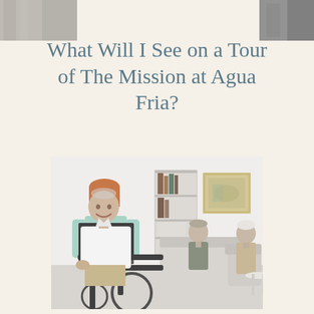[Figure (photo): Two partial photo strips visible at the top corners of the page — a grayscale/muted photo on the left edge and a darker photo on the right edge, partially cropped]
What Will I See on a Tour of The Mission at Agua Fria?
[Figure (photo): A care facility common room scene: a female caregiver in mint green top stands behind an elderly man seated in a wheelchair, both facing the camera and smiling. In the background, two elderly people (a man and a woman) sit on a couch conversing, with a bookshelf and a framed painting on a white wall behind them. A small side table with items is visible on the right.]